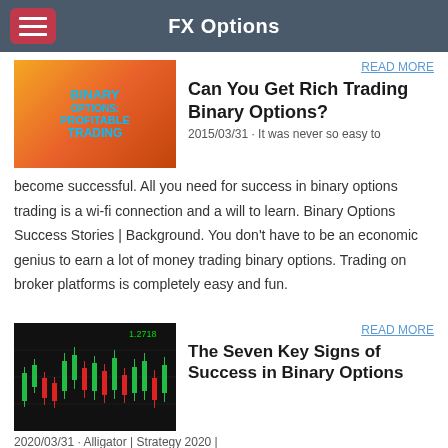FX Options
[Figure (photo): Thumbnail showing a man in suit next to text BINARY OPTIONS: PROFITABLE TRADING on orange background]
READ MORE
Can You Get Rich Trading Binary Options?
2015/03/31 · It was never so easy to become successful. All you need for success in binary options trading is a wi-fi connection and a will to learn. Binary Options Success Stories | Background. You don't have to be an economic genius to earn a lot of money trading binary options. Trading on broker platforms is completely easy and fun.
[Figure (photo): Thumbnail showing a candlestick chart with green and red candles on dark background]
READ MORE
The Seven Key Signs of Success in Binary Options
2020/03/31 · Alligator | Strategy 2020 | 100% successful trade | BINARY OPTION TRADING More strategy and Download signal https://bot2020.blogspot.com